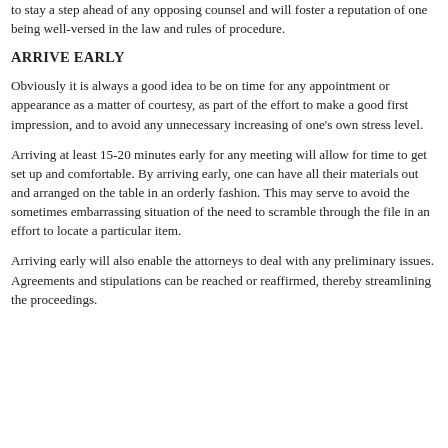to stay a step ahead of any opposing counsel and will foster a reputation of one being well-versed in the law and rules of procedure.
ARRIVE EARLY
Obviously it is always a good idea to be on time for any appointment or appearance as a matter of courtesy, as part of the effort to make a good first impression, and to avoid any unnecessary increasing of one's own stress level.
Arriving at least 15-20 minutes early for any meeting will allow for time to get set up and comfortable. By arriving early, one can have all their materials out and arranged on the table in an orderly fashion. This may serve to avoid the sometimes embarrassing situation of the need to scramble through the file in an effort to locate a particular item.
Arriving early will also enable the attorneys to deal with any preliminary issues. Agreements and stipulations can be reached or reaffirmed, thereby streamlining the proceedings.